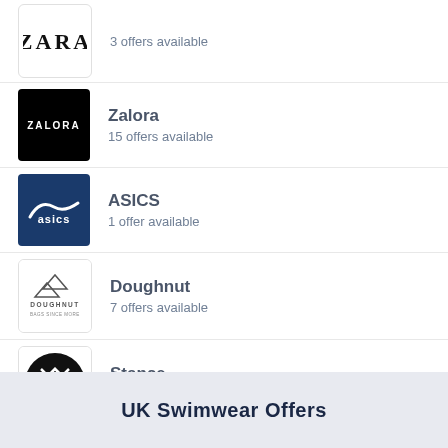Zara — 3 offers available
Zalora — 15 offers available
ASICS — 1 offer available
Doughnut — 7 offers available
Stance — 4 offers available
UK Swimwear Offers